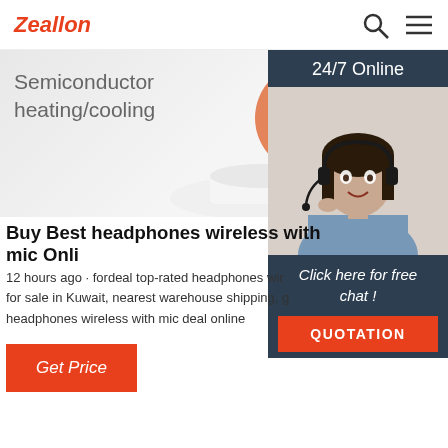Zeallon
[Figure (screenshot): Hero banner showing semiconductor heating/cooling product with orange circular heating element on white base]
[Figure (photo): Sidebar widget: 24/7 Online support with photo of smiling woman wearing headset, and QUOTATION button]
Buy Best headphones wireless with mic Onli
12 hours ago · fordeal top-rated headphones wir for sale in Kuwait, nearest warehouse shipping, g headphones wireless with mic deal online
Get Price